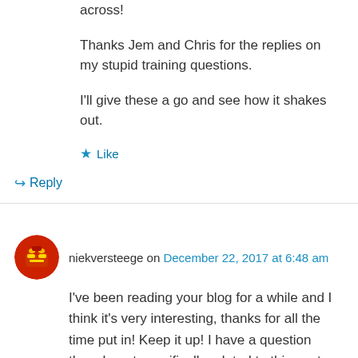across!
Thanks Jem and Chris for the replies on my stupid training questions.
I'll give these a go and see how it shakes out.
★ Like
↳ Reply
niekversteege on December 22, 2017 at 6:48 am
I've been reading your blog for a while and I think it's very interesting, thanks for all the time put in! Keep it up! I have a question though, not specifically related to this post: how do you make sure your TSS scores are comparable? You